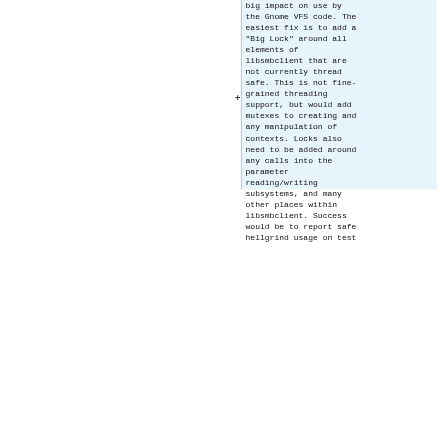big impact on use by the Gnome VFS code. The easiest fix is to add a "Big Lock" around all elements of libsmbclient that are not currently thread safe. This is not fine-grained threading support, but would add mutexes to creating and any manipulation of contexts. Locks also need to be added around any calls into the parameter reading/writing subsystems, and many other places within libsmbclient. Success would be to report safe hellgrind usage on test